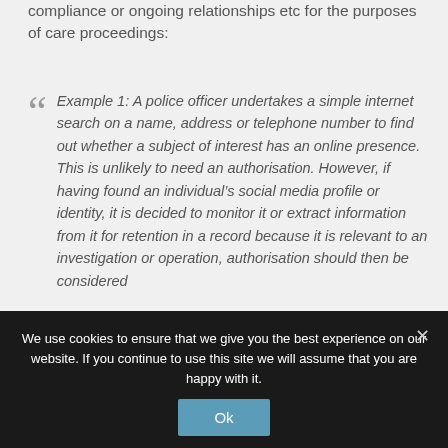compliance or ongoing relationships etc for the purposes of care proceedings:
Example 1: A police officer undertakes a simple internet search on a name, address or telephone number to find out whether a subject of interest has an online presence. This is unlikely to need an authorisation. However, if having found an individual's social media profile or identity, it is decided to monitor it or extract information from it for retention in a record because it is relevant to an investigation or operation, authorisation should then be considered
We use cookies to ensure that we give you the best experience on our website. If you continue to use this site we will assume that you are happy with it.